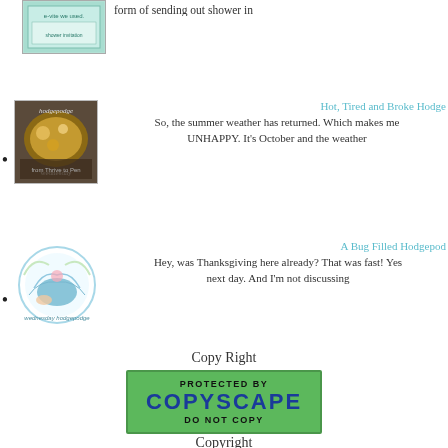[Figure (illustration): Thumbnail image of an e-vite, teal/mint colored card]
form of sending out shower in
Hot, Tired and Broke Hodge... So, the summer weather has returned. Which makes me UNHAPPY. It's October and the weather...
A Bug Filled Hodgepod... Hey, was Thanksgiving here already? That was fast! Yes... next day. And I'm not discussing...
Copy Right
[Figure (other): Copyscape Protected badge - green background with PROTECTED BY COPYSCAPE DO NOT COPY text]
Copyright
All original content copyright Pamela from 2010-2019. This blog content is...